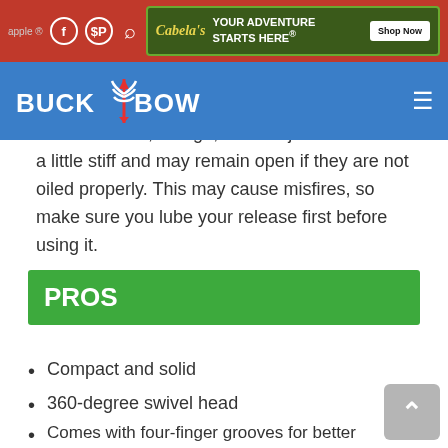Cabelas YOUR ADVENTURE STARTS HERE® Shop Now
[Figure (logo): Buck Bow logo with deer antler and arrow graphic on blue navigation bar]
I have noticed, though, that the jaws tend to be a little stiff and may remain open if they are not oiled properly. This may cause misfires, so make sure you lube your release first before using it.
PROS
Compact and solid
360-degree swivel head
Comes with four-finger grooves for better stability
Easy sensitivity screw adjustments